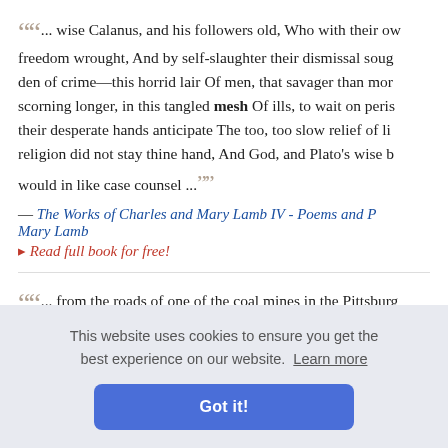... wise Calanus, and his followers old, Who with their own freedom wrought, And by self-slaughter their dismissal soug den of crime—this horrid lair Of men, that savager than mor scorning longer, in this tangled mesh Of ills, to wait on peris their desperate hands anticipate The too, too slow relief of li religion did not stay thine hand, And God, and Plato's wise b would in like case counsel ...
— The Works of Charles and Mary Lamb IV - Poems and P... Mary Lamb
▸ Read full book for free!
... from the roads of one of the coal mines in the Pittsburg... least 12% of water to prevent an ignition. It has also been pr... was 100-m... ame of a b... g have be... d hence ... ngineers, ...
This website uses cookies to ensure you get the best experience on our website. Learn more
Got it!